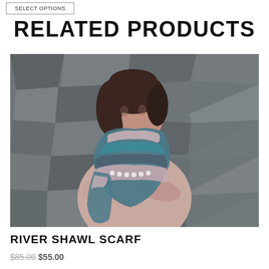SELECT OPTIONS
RELATED PRODUCTS
[Figure (photo): A woman wearing a striped teal and pink River Shawl Scarf, leaning against a stone wall background. She is wearing a light pink long-sleeve sweater and the scarf is wrapped around her neck.]
RIVER SHAWL SCARF
$85.00 $55.00